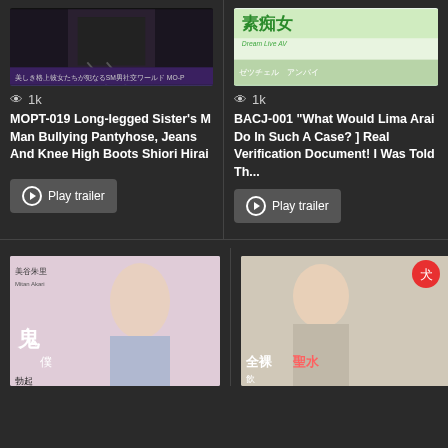[Figure (photo): DVD cover - MOPT-019, dark background with legs/boots imagery]
1k
MOPT-019 Long-legged Sister's M Man Bullying Pantyhose, Jeans And Knee High Boots Shiori Hirai
Play trailer
[Figure (photo): DVD cover - BACJ-001, green background with Japanese text]
1k
BACJ-001 "What Would Lima Arai Do In Such A Case? ] Real Verification Document! I Was Told Th...
Play trailer
[Figure (photo): DVD cover - young woman in grey outfit, Japanese text]
[Figure (photo): DVD cover - woman, Japanese text about 全裸聖水]